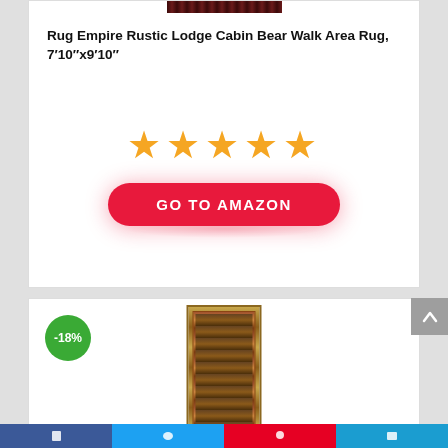[Figure (photo): Small thumbnail image of a dark red/brown rug at the top of the first card]
Rug Empire Rustic Lodge Cabin Bear Walk Area Rug, 7'10"x9'10"
[Figure (other): Five orange star rating icons]
[Figure (other): GO TO AMAZON button in red/pink pill shape]
[Figure (photo): Product image of a narrow runner rug with bear/nature motif pattern, brown and earth tones]
-18%
[Figure (other): Back to top arrow button (grey square with up arrow)]
[Figure (other): Social sharing bar at bottom with Facebook, Twitter, Pinterest, and email icons]